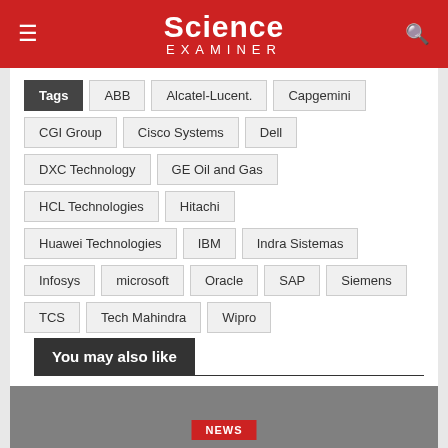Science Examiner
Tags | ABB | Alcatel-Lucent. | Capgemini | CGI Group | Cisco Systems | Dell | DXC Technology | GE Oil and Gas | HCL Technologies | Hitachi | Huawei Technologies | IBM | Indra Sistemas | Infosys | microsoft | Oracle | SAP | Siemens | TCS | Tech Mahindra | Wipro
You may also like
[Figure (photo): Gray placeholder image with NEWS badge at bottom center]